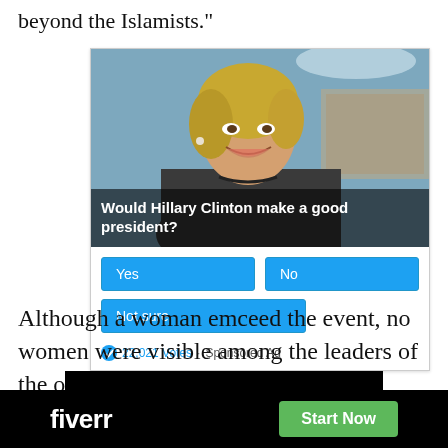beyond the Islamists."
[Figure (screenshot): A social media poll ad showing a photo of Hillary Clinton with the question 'Would Hillary Clinton make a good president?' with Yes, No, and Not sure buttons, 22,021 Votes, Sponsored Ad]
Although a woman emceed the event, no women were visible among the leaders of the o[rganization that hosted the event. U.S.] Secre[tary of State Hillary Clinton] aid
[Figure (screenshot): Fiverr advertisement banner with logo and 'Start Now' button]